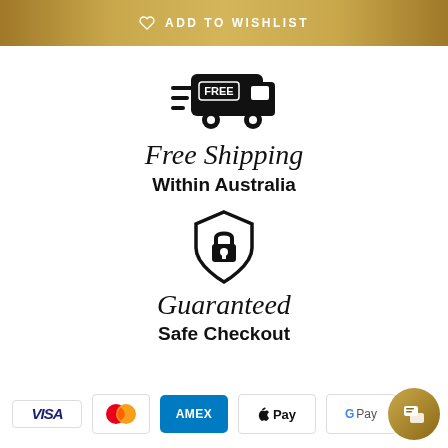♡  ADD TO WISHLIST
[Figure (illustration): Black delivery truck icon with speed lines and FREE label, representing free shipping]
Free Shipping
Within Australia
[Figure (illustration): Black shield icon with padlock, representing guaranteed safe checkout]
Guaranteed
Safe Checkout
[Figure (infographic): Payment method icons: VISA, Mastercard, AMEX, Apple Pay, Google Pay]